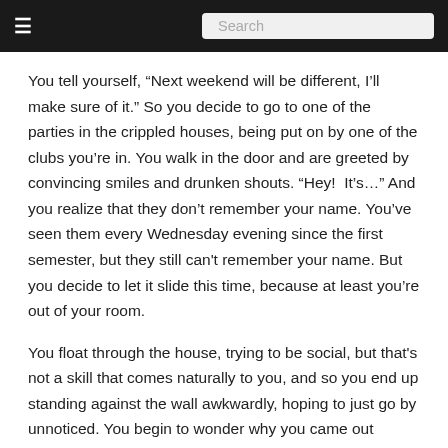☰  Search
You tell yourself, “Next weekend will be different, I’ll make sure of it.” So you decide to go to one of the parties in the crippled houses, being put on by one of the clubs you’re in. You walk in the door and are greeted by convincing smiles and drunken shouts. “Hey!  It’s…” And you realize that they don’t remember your name. You’ve seen them every Wednesday evening since the first semester, but they still can't remember your name. But you decide to let it slide this time, because at least you’re out of your room.
You float through the house, trying to be social, but that's not a skill that comes naturally to you, and so you end up standing against the wall awkwardly, hoping to just go by unnoticed. You begin to wonder why you came out tonight at all. You’re starting to miss the comfort of your lonely little room.